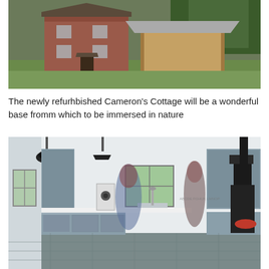[Figure (photo): Exterior photo of Cameron's Cottage, a refurbished red-brick two-storey farmhouse with a modern timber-framed outbuilding with a slate roof, set on a green hillside with trees in the background.]
The newly refurhbished Cameron's Cottage will be a wonderful base fromm which to be immersed in nature
[Figure (photo): Interior photo of a modern kitchen with blue-grey cabinetry, industrial pendant lights, a central window, a wood-burning stove, and two motion-blurred figures of people moving through the space.]